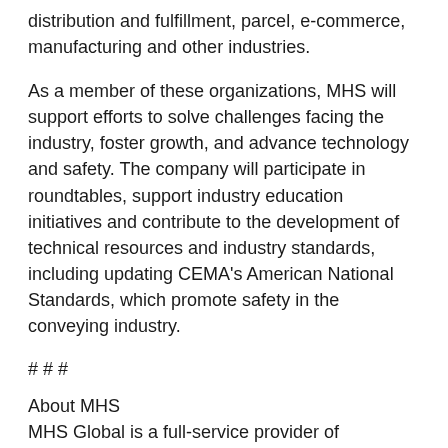distribution and fulfillment, parcel, e-commerce, manufacturing and other industries.
As a member of these organizations, MHS will support efforts to solve challenges facing the industry, foster growth, and advance technology and safety. The company will participate in roundtables, support industry education initiatives and contribute to the development of technical resources and industry standards, including updating CEMA's American National Standards, which promote safety in the conveying industry.
# # #
About MHS
MHS Global is a full-service provider of innovative material handling systems that solve the challenges of distribution and fulfillment operations. We take a comprehensive, customer-centric approach that includes custom